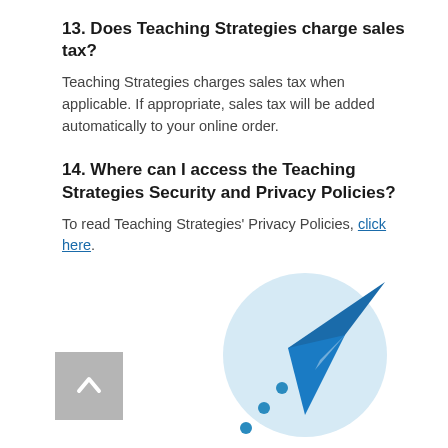13. Does Teaching Strategies charge sales tax?
Teaching Strategies charges sales tax when applicable. If appropriate, sales tax will be added automatically to your online order.
14. Where can I access the Teaching Strategies Security and Privacy Policies?
To read Teaching Strategies' Privacy Policies, click here.
[Figure (illustration): Paper airplane / send icon with a light blue circular background, representing a newsletter or send action. Below is a back-to-top button (gray square with white up arrow).]